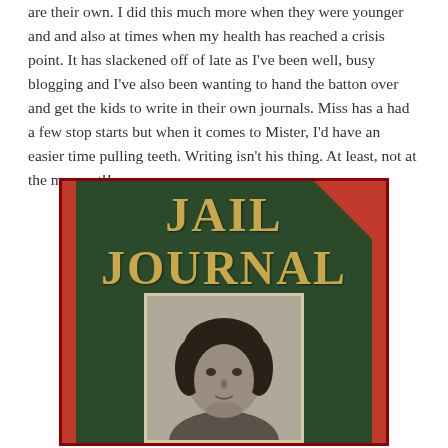are their own. I did this much more when they were younger and and also at times when my health has reached a crisis point. It has slackened off of late as I've been well, busy blogging and I've also been wanting to hand the batton over and get the kids to write in their own journals. Miss has a had a few stop starts but when it comes to Mister, I'd have an easier time pulling teeth. Writing isn't his thing. At least, not at the moment!!
[Figure (photo): Book cover of 'Jail Journal' — dark green background with red borders and a red corner triangle at top-right. Title 'JAIL JOURNAL' in large gold/tan serif letters. Below the title is a framed black and white portrait photo of a young man with dark curly hair.]